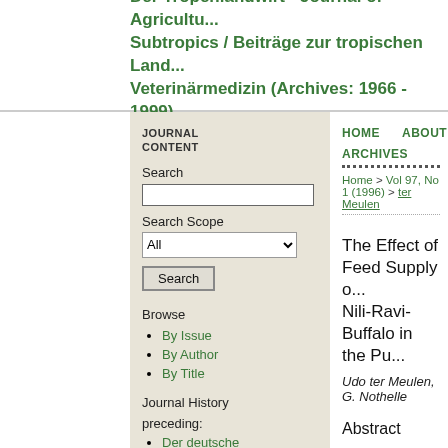Der Tropenlandwirt - Journal of Agriculture in the Tropics and Subtropics / Beiträge zur tropischen Landwirtschaft und Veterinärmedizin (Archives: 1966 - 1999)
JOURNAL CONTENT
Search
Search Scope
Browse
By Issue
By Author
By Title
Journal History
preceding:
Der deutsche
HOME   ABOUT   LOGIN   ARCHIVES
Home > Vol 97, No 1 (1996) > ter Meulen
The Effect of Feed Supply o... Nili-Ravi-Buffalo in the Pu...
Udo ter Meulen, G. Nothelle
Abstract
In the present work we intend to invest... feeding  situation affects the fertility ...